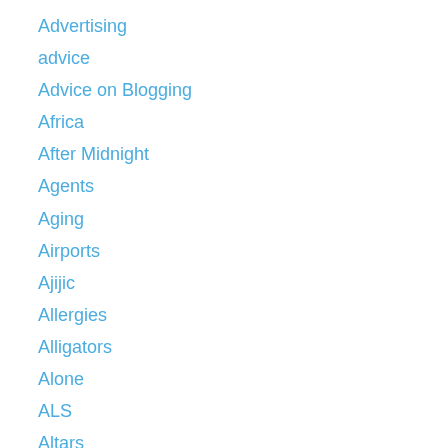Advertising
advice
Advice on Blogging
Africa
After Midnight
Agents
Aging
Airports
Ajijic
Allergies
Alligators
Alone
ALS
Altars
Alzheimer's
amoebas
Anima/Animus
animal images
Animals
Antiques